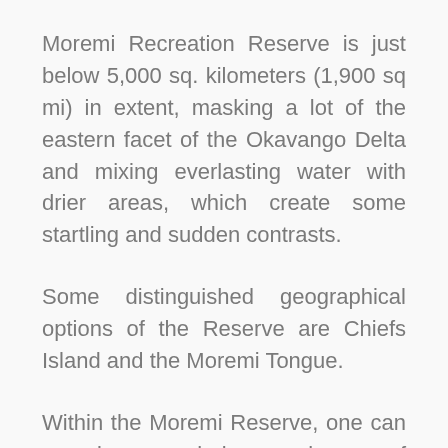Moremi Recreation Reserve is just below 5,000 sq. kilometers (1,900 sq mi) in extent, masking a lot of the eastern facet of the Okavango Delta and mixing everlasting water with drier areas, which create some startling and sudden contrasts.
Some distinguished geographical options of the Reserve are Chiefs Island and the Moremi Tongue.
Within the Moremi Reserve, one can experience glorious views of savannah sport in addition to bird-watching on the lagoons